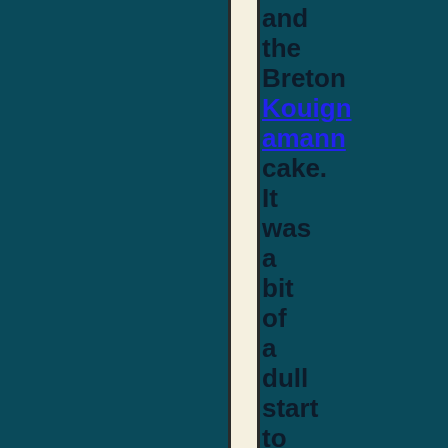and the Breton Kouign amann cake. It was a bit of a dull start to the day